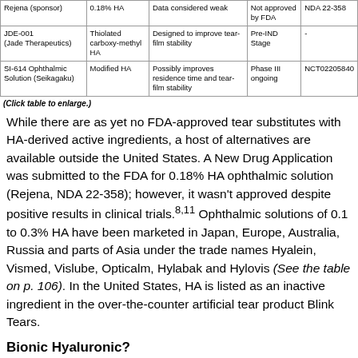|  |  |  |  |  |
| --- | --- | --- | --- | --- |
| Rejena (sponsor) | 0.18% HA | Data considered weak | Not approved by FDA | NDA 22-358 |
| JDE-001 (Jade Therapeutics) | Thiolated carboxy-methyl HA | Designed to improve tear-film stability | Pre-IND Stage | - |
| SI-614 Ophthalmic Solution (Seikagaku) | Modified HA | Possibly improves residence time and tear-film stability | Phase III ongoing | NCT02205840 |
(Click table to enlarge.)
While there are as yet no FDA-approved tear substitutes with HA-derived active ingredients, a host of alternatives are available outside the United States. A New Drug Application was submitted to the FDA for 0.18% HA ophthalmic solution (Rejena, NDA 22-358); however, it wasn't approved despite positive results in clinical trials.8,11 Ophthalmic solutions of 0.1 to 0.3% HA have been marketed in Japan, Europe, Australia, Russia and parts of Asia under the trade names Hyalein, Vismed, Vislube, Opticalm, Hylabak and Hylovis (See the table on p. 106). In the United States, HA is listed as an inactive ingredient in the over-the-counter artificial tear product Blink Tears.
Bionic Hyaluronic?